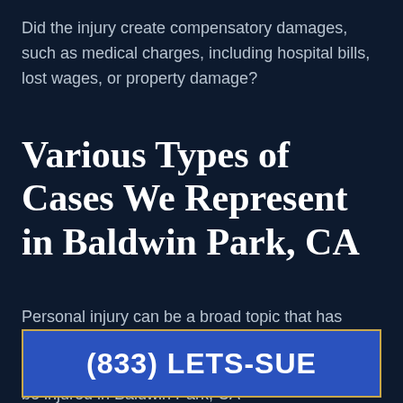Did the injury create compensatory damages, such as medical charges, including hospital bills, lost wages, or property damage?
Various Types of Cases We Represent in Baldwin Park, CA
Personal injury can be a broad topic that has many different types of legal requirements for the plaintiff. Here are some of the ways a person can be injured in Baldwin Park, CA
(833) LETS-SUE
can occur as well including broken bones,